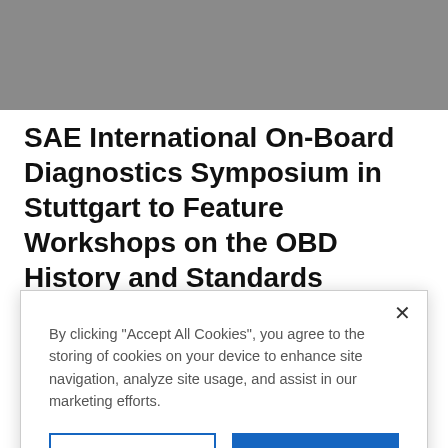[Figure (other): Gray banner at top of page]
SAE International On-Board Diagnostics Symposium in Stuttgart to Feature Workshops on the OBD History and Standards Development
By clicking "Accept All Cookies", you agree to the storing of cookies on your device to enhance site navigation, analyze site usage, and assist in our marketing efforts.
12 from 9:30 a.m.-Noon. This session will provide historical, legal, logical and standardization